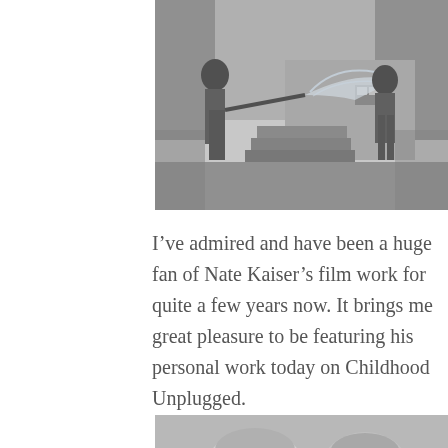[Figure (photo): Black and white photograph of two children playing with a garden hose outside. One child is spraying water at the other. There are outdoor steps and a building in the background, surrounded by trees.]
I've admired and have been a huge fan of Nate Kaiser's film work for quite a few years now. It brings me great pleasure to be featuring his personal work today on Childhood Unplugged.
[Figure (photo): Black and white photograph partially visible at bottom of page, showing tops of children's heads.]